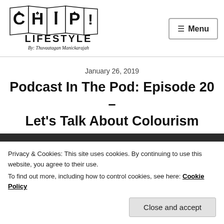[Figure (logo): CHIP Lifestyle logo with card suit symbols (club, spade, heart, diamond) in folded panels, with text 'LIFESTYLE' and 'By: Thuvaatagan Manickarajah' below]
☰ Menu
January 26, 2019
Podcast In The Pod: Episode 20 – Let's Talk About Colourism
[Figure (photo): Dark background image partially visible]
Privacy & Cookies: This site uses cookies. By continuing to use this website, you agree to their use.
To find out more, including how to control cookies, see here: Cookie Policy
Close and accept